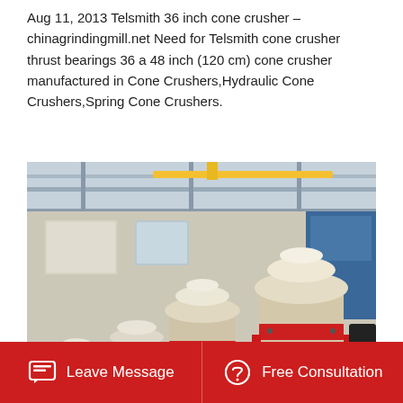Aug 11, 2013 Telsmith 36 inch cone crusher – chinagrindingmill.net Need for Telsmith cone crusher thrust bearings 36 a 48 inch (120 cm) cone crusher manufactured in Cone Crushers,Hydraulic Cone Crushers,Spring Cone Crushers.
[Figure (photo): Photograph of multiple large industrial cone crushers lined up inside a factory/warehouse. The machines are white and red in color, mounted on black bases, with red hydraulic cylinders. Industrial ceiling with beams and green-painted concrete floor visible.]
Leave Message   Free Consultation